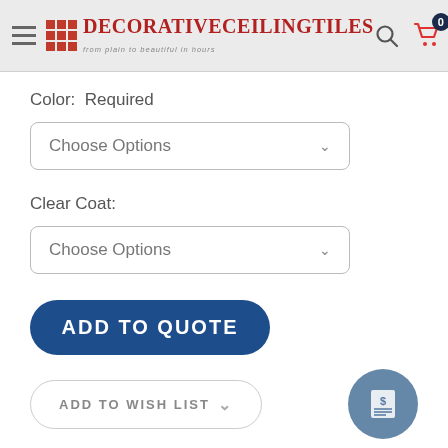DecorativeCeilingTiles — from plain to beautiful in hours
Color: Required
Choose Options
Clear Coat:
Choose Options
ADD TO QUOTE
ADD TO WISH LIST